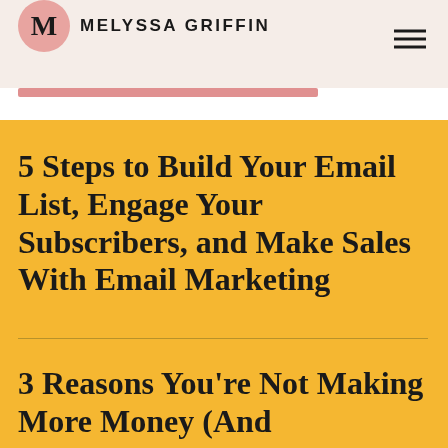Melyssa Griffin
5 Steps to Build Your Email List, Engage Your Subscribers, and Make Sales With Email Marketing
3 Reasons You're Not Making More Money (And